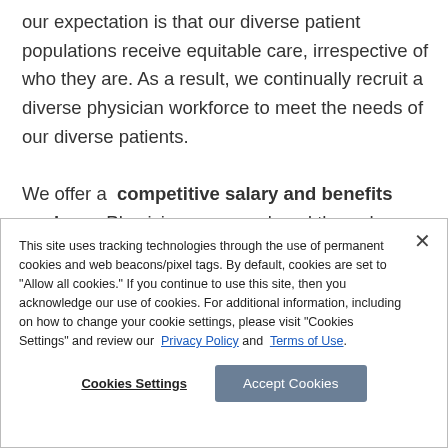our expectation is that our diverse patient populations receive equitable care, irrespective of who they are. As a result, we continually recruit a diverse physician workforce to meet the needs of our diverse patients.

We offer a competitive salary and benefits package. Physicians are employed through Northwell Health
This site uses tracking technologies through the use of permanent cookies and web beacons/pixel tags. By default, cookies are set to "Allow all cookies." If you continue to use this site, then you acknowledge our use of cookies. For additional information, including on how to change your cookie settings, please visit "Cookies Settings" and review our Privacy Policy and Terms of Use.